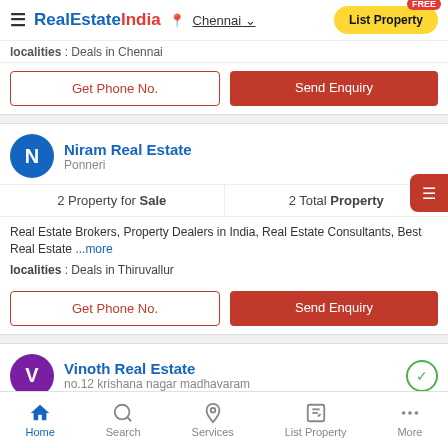RealEstateIndia | Chennai | List Property FREE
localities : Deals in Chennai
Get Phone No. | Send Enquiry
Niram Real Estate — Ponneri
2 Property for Sale | 2 Total Property
Real Estate Brokers, Property Dealers in India, Real Estate Consultants, Best Real Estate ...more
localities : Deals in Thiruvallur
Get Phone No. | Send Enquiry
Vinoth Real Estate — no.12 krishana nagar madhavaram
3 Property for Sale | 2 Property for Rent
Home | Search | Services | List Property | More